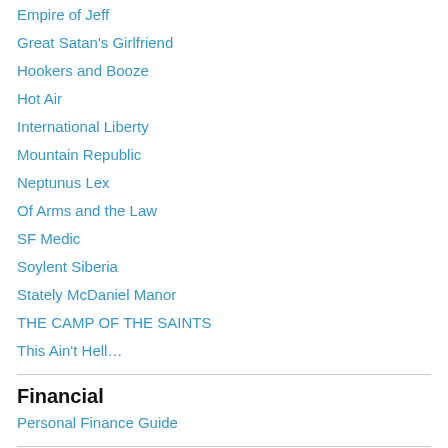Empire of Jeff
Great Satan's Girlfriend
Hookers and Booze
Hot Air
International Liberty
Mountain Republic
Neptunus Lex
Of Arms and the Law
SF Medic
Soylent Siberia
Stately McDaniel Manor
THE CAMP OF THE SAINTS
This Ain't Hell…
Financial
Personal Finance Guide